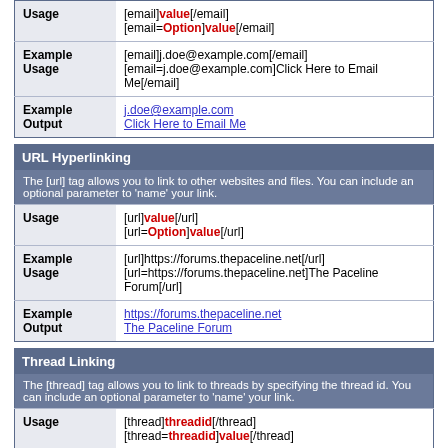|  |  |
| --- | --- |
| Usage | [email]value[/email]
[email=Option]value[/email] |
| Example Usage | [email]j.doe@example.com[/email]
[email=j.doe@example.com]Click Here to Email Me[/email] |
| Example Output | j.doe@example.com
Click Here to Email Me |
| URL Hyperlinking |
| --- |
| The [url] tag allows you to link to other websites and files. You can include an optional parameter to 'name' your link. |
| Usage | [url]value[/url]
[url=Option]value[/url] |
| Example Usage | [url]https://forums.thepaceline.net[/url]
[url=https://forums.thepaceline.net]The Paceline Forum[/url] |
| Example Output | https://forums.thepaceline.net
The Paceline Forum |
| Thread Linking |
| --- |
| The [thread] tag allows you to link to threads by specifying the thread id. You can include an optional parameter to 'name' your link. |
| Usage | [thread]threadid[/thread]
[thread=threadid]value[/thread] |